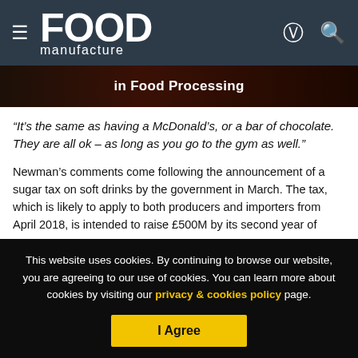Food Manufacture
[Figure (screenshot): Dark background image strip with text 'in Food Processing' in bold white]
“It’s the same as having a McDonald’s, or a bar of chocolate. They are all ok – as long as you go to the gym as well.”
Newman’s comments come following the announcement of a sugar tax on soft drinks by the government in March. The tax, which is likely to apply to both producers and importers from April 2018, is intended to raise £500M by its second year of
This website uses cookies. By continuing to browse our website, you are agreeing to our use of cookies. You can learn more about cookies by visiting our privacy & cookies policy page.
I Agree